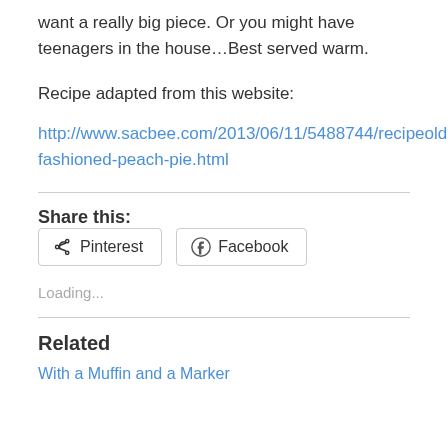want a really big piece. Or you might have teenagers in the house…Best served warm.
Recipe adapted from this website:
http://www.sacbee.com/2013/06/11/5488744/recipeold-fashioned-peach-pie.html
Share this:
Loading...
Related
With a Muffin and a Marker